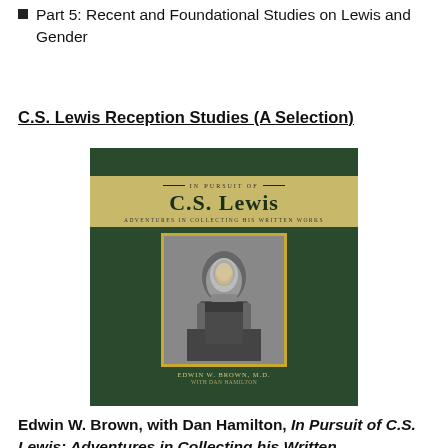Part 5: Recent and Foundational Studies on Lewis and Gender
C.S. Lewis Reception Studies (A Selection)
[Figure (photo): Book cover of 'In Pursuit of C.S. Lewis: Adventures in Collecting his Written Works' by Edwin W. Brown, M.D. with Dan Hamilton. Dark green cover with a yellow/gold banner showing the title, and a framed black-and-white photograph of C.S. Lewis.]
Edwin W. Brown, with Dan Hamilton, In Pursuit of C.S. Lewis: Adventures in Collecting his Written